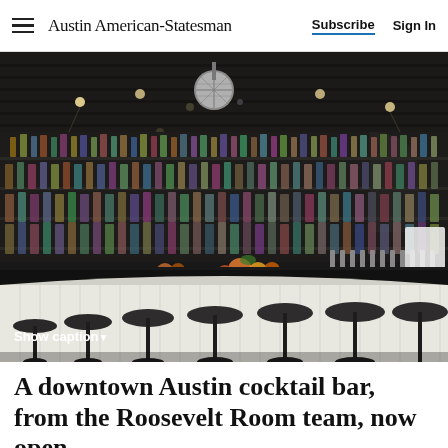Austin American-Statesman  Subscribe  Sign In
[Figure (photo): Interior of an upscale cocktail bar with a long curved white bar counter, dark bar top, rows of liquor bottles on backlit shelves, bar stools, and a disco ball hanging from the ceiling.]
Show caption▼
A downtown Austin cocktail bar, from the Roosevelt Room team, now open